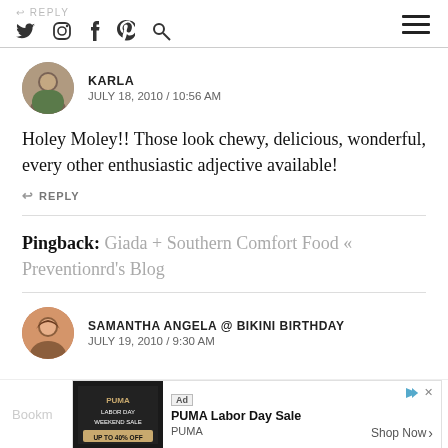REPLY | social icons: twitter, instagram, facebook, pinterest, search | hamburger menu
KARLA
JULY 18, 2010 / 10:56 AM
Holey Moley!! Those look chewy, delicious, wonderful, every other enthusiastic adjective available!
↩ REPLY
Pingback: Giada + Southern Comfort Food « Preventionrd's Blog
SAMANTHA ANGELA @ BIKINI BIRTHDAY
JULY 19, 2010 / 9:30 AM
[Figure (photo): Advertisement banner: PUMA Labor Day Sale, Shop Now button, showing Labor Day Weekend Sale image]